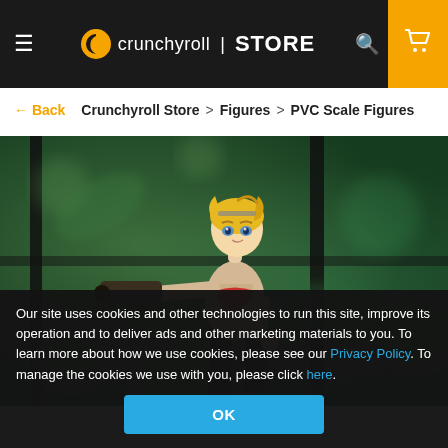≡  crunchyroll | STORE  🔍  🛒
← Back   Crunchyroll Store > Figures > PVC Scale Figures
[Figure (photo): A PVC scale figure of an anime character — a blonde girl in a tan/cream combat outfit with red scarf, holding a large gun/weapon, posed dynamically against a green bokeh background.]
Our site uses cookies and other technologies to run this site, improve its operation and to deliver ads and other marketing materials to you. To learn more about how we use cookies, please see our Privacy Policy. To manage the cookies we use with you, please click here.
OK